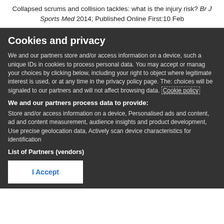Collapsed scrums and collision tackles: what is the injury risk? Br J Sports Med 2014; Published Online First:10 Feb
Cookies and privacy
We and our partners store and/or access information on a device, such as unique IDs in cookies to process personal data. You may accept or manage your choices by clicking below, including your right to object where legitimate interest is used, or at any time in the privacy policy page. These choices will be signaled to our partners and will not affect browsing data. Cookie policy
We and our partners process data to provide:
Store and/or access information on a device, Personalised ads and content, ad and content measurement, audience insights and product development, Use precise geolocation data, Actively scan device characteristics for identification
List of Partners (vendors)
I Accept